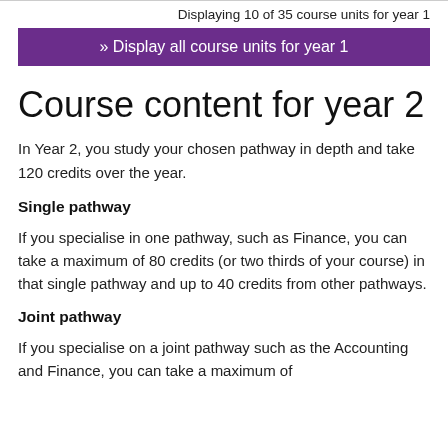Displaying 10 of 35 course units for year 1
» Display all course units for year 1
Course content for year 2
In Year 2, you study your chosen pathway in depth and take 120 credits over the year.
Single pathway
If you specialise in one pathway, such as Finance, you can take a maximum of 80 credits (or two thirds of your course) in that single pathway and up to 40 credits from other pathways.
Joint pathway
If you specialise on a joint pathway such as the Accounting and Finance, you can take a maximum of